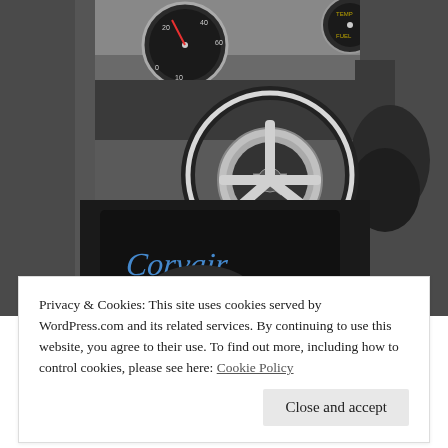[Figure (photo): Interior view of a Corvair automobile showing the steering wheel with chrome hub and a star emblem, dashboard with gauges including speedometer, and the floor mat with 'Corvair' script lettering. Two pairs of feet/shoes are visible — one with blue/green sneakers on the left and another on the right.]
Privacy & Cookies: This site uses cookies served by WordPress.com and its related services. By continuing to use this website, you agree to their use. To find out more, including how to control cookies, please see here: Cookie Policy
Close and accept